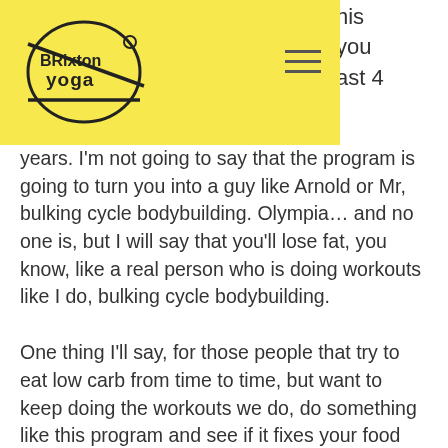Brixton Yoga — navigation header with logo and hamburger menu
his you ast 4 years. I'm not going to say that the program is going to turn you into a guy like Arnold or Mr, bulking cycle bodybuilding. Olympia… and no one is, but I will say that you'll lose fat, you know, like a real person who is doing workouts like I do, bulking cycle bodybuilding.
One thing I'll say, for those people that try to eat low carb from time to time, but want to keep doing the workouts we do, do something like this program and see if it fixes your food intake issues.
See more
As we see athletes taking anabolic steroids for more prolonged periods, we are likely to see more severe medical consequencesin the future," said Professor George Fong, a